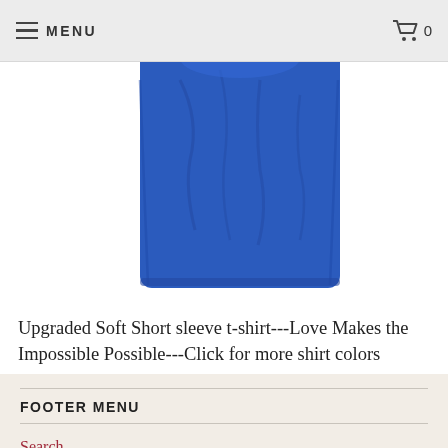MENU   0
[Figure (photo): Blue short sleeve t-shirt product photo, showing the body of the shirt from approximately chest to hem against a white background]
Upgraded Soft Short sleeve t-shirt---Love Makes the Impossible Possible---Click for more shirt colors
from $30.00
FOOTER MENU
Search
Terms/Conditions